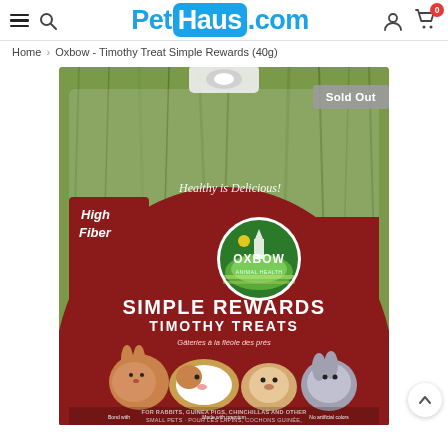PetHaus.com — navigation header with hamburger menu, search, logo, account and cart icons
Home > Oxbow - Timothy Treat Simple Rewards (40g)
[Figure (photo): Product photo of Oxbow Simple Rewards Timothy Treats 40g bag. Red packaging with Oxbow Animal Health logo, showing rabbits, guinea pigs, hamsters and chinchillas. Text: High Fiber, Healthy is Delicious!, SIMPLE REWARDS TIMOTHY TREATS, Gâteries à la fléole des prés, FOR RABBITS, GUINEA PIGS, CHINCHILLAS AND OTHER SMALL PETS – POUR LES LAPINS, COCHONS GUINEA, CHINCHILLAS ET AUTRES PETITES ANIMAUX. Bottom text: Bond with | Made with premium | No artificial colors. Sold Out badge visible top-right.]